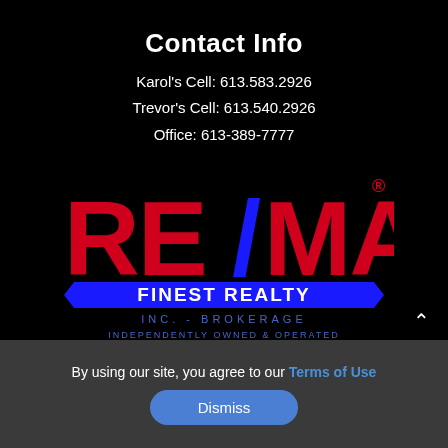Contact Info
Karol's Cell: 613.583.2926
Trevor's Cell: 613.540.2926
Office: 613-389-7777
[Figure (logo): RE/MAX Finest Realty Inc. - Brokerage, Independently Owned & Operated logo on black background]
By using our site, you agree to our Terms of Use
Dismiss